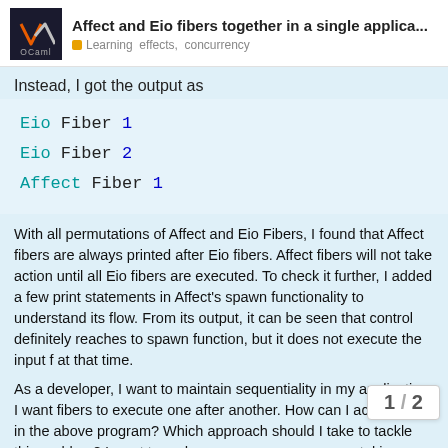Affect and Eio fibers together in a single applica... Learning effects, concurrency
Instead, I got the output as
[Figure (screenshot): Code output block showing: Eio Fiber 1 / Eio Fiber 2 / Affect Fiber 1]
With all permutations of Affect and Eio Fibers, I found that Affect fibers are always printed after Eio fibers. Affect fibers will not take action until all Eio fibers are executed. To check it further, I added a few print statements in Affect's spawn functionality to understand its flow. From its output, it can be seen that control definitely reaches to spawn function, but it does not execute the input f at that time.
As a developer, I want to maintain sequentiality in my application. I want fibers to execute one after another. How can I achieve this in the above program? Which approach should I take to tackle this problem? I want to unde are taking priority over Affect fibers.
1 / 2